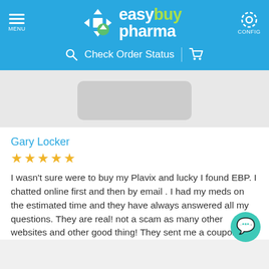[Figure (logo): EasyBuy Pharma logo with navigation header including menu icon, logo with cross symbol, 'Check Order Status' search bar and cart icon, and config gear icon]
[Figure (screenshot): Partial product image area showing a grey rounded rectangle product placeholder on light grey background]
Gary Locker
★★★★★
I wasn't sure were to buy my Plavix and lucky I found EBP. I chatted online first and then by email . I had my meds on the estimated time and they have always answered all my questions. They are real! not a scam as many other websites and other good thing! They sent me a coupon